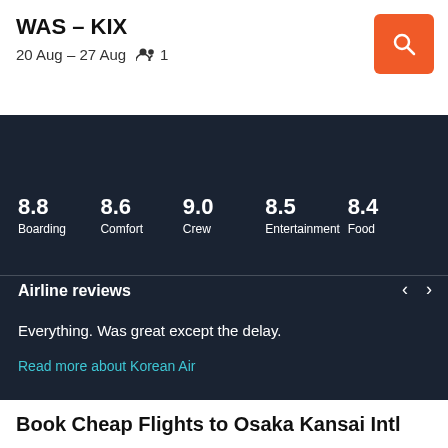WAS – KIX
20 Aug – 27 Aug  👥 1
Overall score based on 664 reviews
8.8 Boarding  8.6 Comfort  9.0 Crew  8.5 Entertainment  8.4 Food
Airline reviews
Everything. Was great except the delay.
Read more about Korean Air
Book Cheap Flights to Osaka Kansai Intl